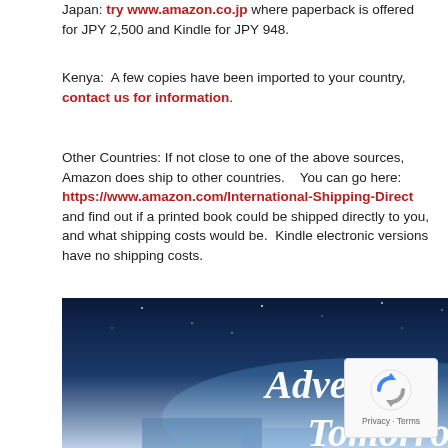Japan: try www.amazon.co.jp where paperback is offered for JPY 2,500 and Kindle for JPY 948.
Kenya: A few copies have been imported to your country, contact us for information.
Other Countries: If not close to one of the above sources, Amazon does ship to other countries. You can go here: https://www.amazon.com/International-Shipping-Direct and find out if a printed book could be shipped directly to you, and what shipping costs would be. Kindle electronic versions have no shipping costs.
[Figure (photo): Book cover for 'Adventist Tomorrow' by Jack Hoehn, showing a starry night sky background with blue/teal tones and geometric block shapes. The title 'Adventist Tomorrow' is displayed in large white italic text, with the author name 'Jack Hoehn' in smaller white text at the top.]
[Figure (other): reCAPTCHA badge showing the Google reCAPTCHA logo (circular arrows icon) and Privacy - Terms text.]